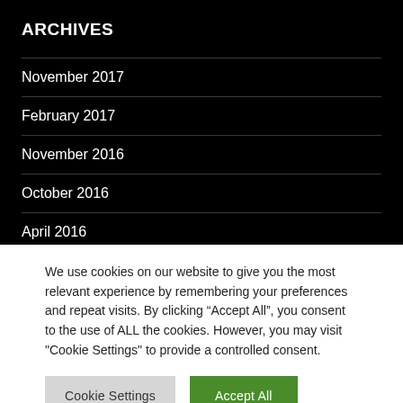ARCHIVES
November 2017
February 2017
November 2016
October 2016
April 2016
We use cookies on our website to give you the most relevant experience by remembering your preferences and repeat visits. By clicking “Accept All”, you consent to the use of ALL the cookies. However, you may visit "Cookie Settings" to provide a controlled consent.
Cookie Settings | Accept All